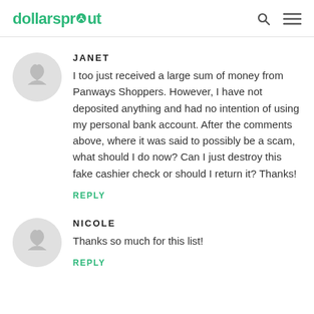dollarsprout
JANET
I too just received a large sum of money from Panways Shoppers. However, I have not deposited anything and had no intention of using my personal bank account. After the comments above, where it was said to possibly be a scam, what should I do now? Can I just destroy this fake cashier check or should I return it? Thanks!
REPLY
NICOLE
Thanks so much for this list!
REPLY